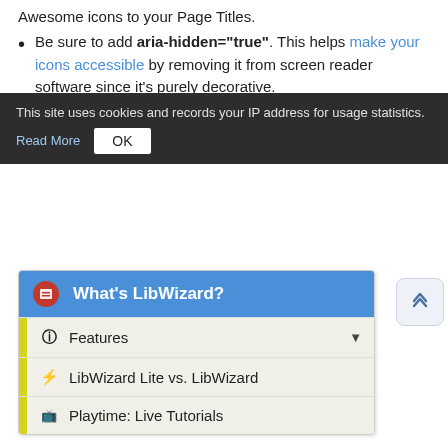Awesome icons to your Page Titles.
Be sure to add aria-hidden="true". This helps make your icons accessible by removing it from screen reader software since it's purely decorative.
Explore the Font Awesome Icon Library to search their collection of over 600 icons.
[Figure (screenshot): Screenshot of a LibGuides navigation panel showing: 'What's LibWizard?' header in blue with red icon, then rows for Features (with dropdown arrow), LibWizard Lite vs. LibWizard, and Playtime: Live Tutorials, each with yellow left stripe and icons.]
This site uses cookies and records your IP address for usage statistics. Read More OK